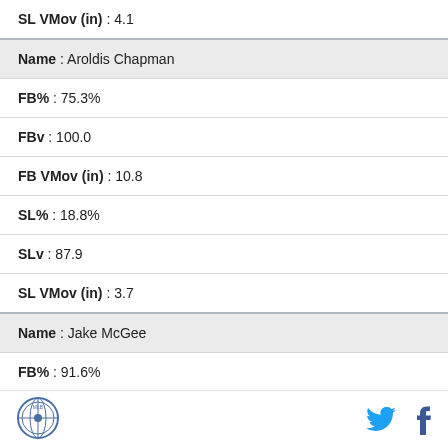| SL VMov (in) : 4.1 |
| Name : Aroldis Chapman |
| FB% : 75.3% |
| FBv : 100.0 |
| FB VMov (in) : 10.8 |
| SL% : 18.8% |
| SLv : 87.9 |
| SL VMov (in) : 3.7 |
| Name : Jake McGee |
| FB% : 91.6% |
| FBv : 94.9 |
Logo | Twitter | Facebook